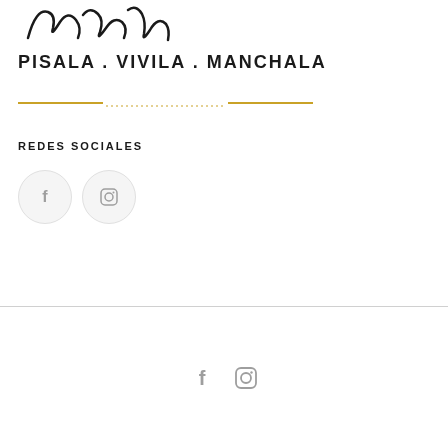[Figure (logo): Handwritten script logo text at top left]
PISALA . VIVILA . MANCHALA
[Figure (illustration): Decorative gold double line divider with dotted center]
REDES SOCIALES
[Figure (illustration): Two circular social media icon buttons: Facebook (f) and Instagram camera icon]
[Figure (illustration): Footer social media icons: Facebook (f) and Instagram camera icon, centered]